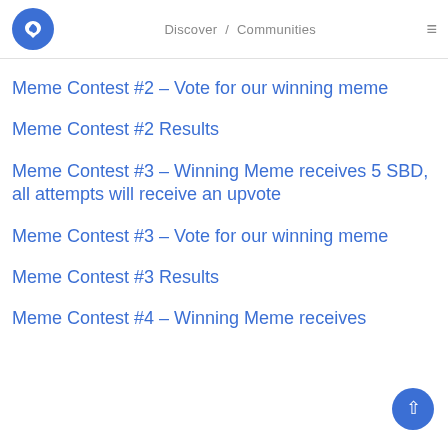Discover / Communities
Meme Contest #2 – Vote for our winning meme
Meme Contest #2 Results
Meme Contest #3 – Winning Meme receives 5 SBD, all attempts will receive an upvote
Meme Contest #3 – Vote for our winning meme
Meme Contest #3 Results
Meme Contest #4 – Winning Meme receives